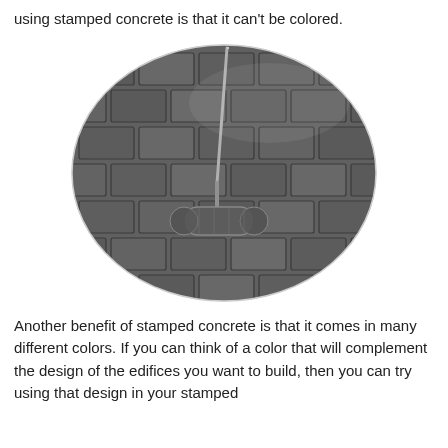using stamped concrete is that it can't be colored.
[Figure (photo): Oval-shaped photo of a paint roller on stamped concrete paving with a brick-like pattern in dark grey color.]
Another benefit of stamped concrete is that it comes in many different colors. If you can think of a color that will complement the design of the edifices you want to build, then you can try using that design in your stamped